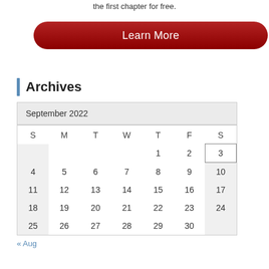the first chapter for free.
[Figure (other): Red rounded button with text 'Learn More']
Archives
| S | M | T | W | T | F | S |
| --- | --- | --- | --- | --- | --- | --- |
|  |  |  |  | 1 | 2 | 3 |
| 4 | 5 | 6 | 7 | 8 | 9 | 10 |
| 11 | 12 | 13 | 14 | 15 | 16 | 17 |
| 18 | 19 | 20 | 21 | 22 | 23 | 24 |
| 25 | 26 | 27 | 28 | 29 | 30 |  |
« Aug